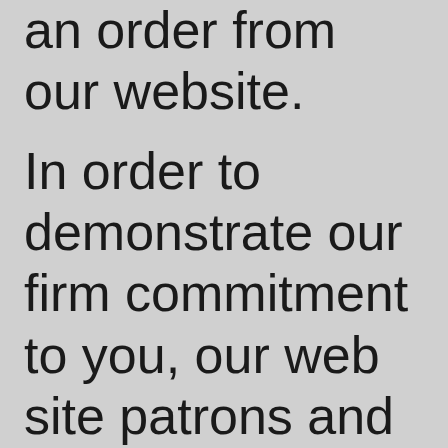an order from our website.
In order to demonstrate our firm commitment to you, our web site patrons and customers, we'd like to share our policies on information gathering, privacy, security, returns, unsolicited email, and more...